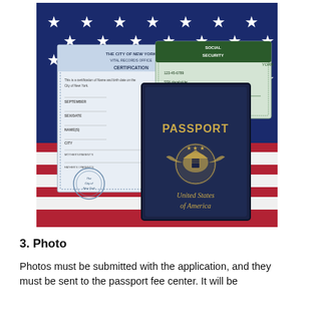[Figure (photo): Photo showing a US passport book, a birth certificate from The City of New York, and a Social Security card, all laid on top of an American flag with stars and stripes visible.]
3. Photo
Photos must be submitted with the application, and they must be sent to the passport fee center. It will be...